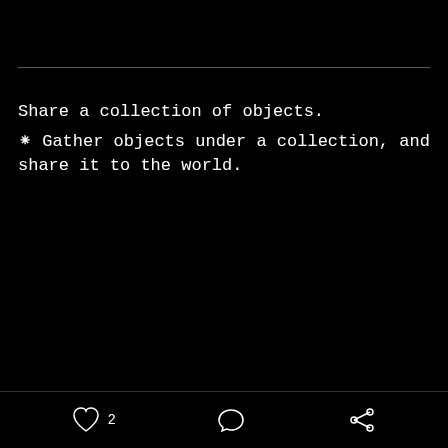Share a collection of objects.
⁕ Gather objects under a collection, and share it to the world.
[Figure (screenshot): Mobile app bottom action bar with heart/like icon with count 2, comment bubble icon, and share/forward icon]